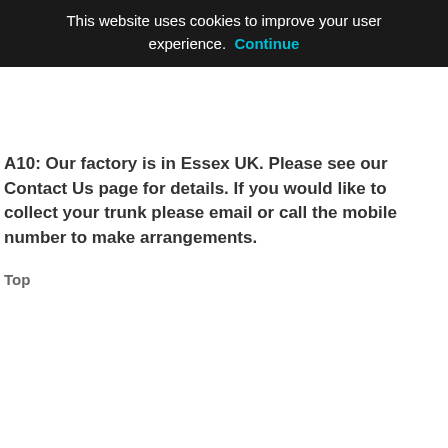Top
This website uses cookies to improve your user experience.  Continue
A10: Our factory is in Essex UK. Please see our Contact Us page for details. If you would like to collect your trunk please email or call the mobile number to make arrangements.
Top